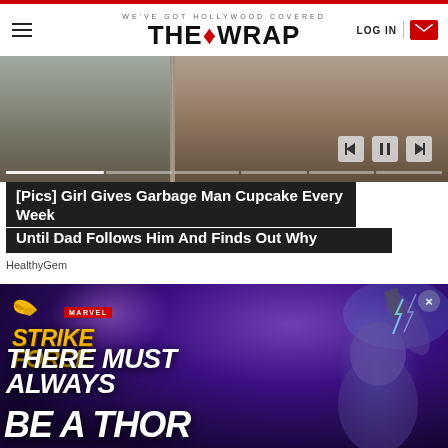WE'VE GOT HOLLYWOOD COVERED — THE WRAP — LOG IN
[Figure (photo): Partial photo showing legs and feet of people on a sidewalk, cropped with video playback controls (skip back, pause, skip forward) and a progress bar overlay]
[Pics] Girl Gives Garbage Man Cupcake Every Week Until Dad Follows Him And Finds Out Why
HealthyGem
[Figure (illustration): Advertisement for Marvel Strike Force mobile game. Shows female Thor character holding Mjolnir with lightning effects. Marvel logo in red. Strike Force logo in gold italic text. Text reads: THERE MUST ALWAYS BE A THOR]